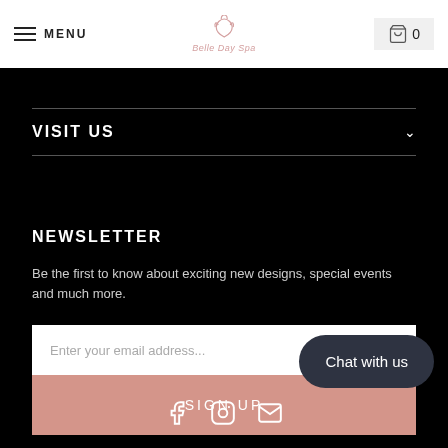MENU | Belle Day Spa | 0
VISIT US
NEWSLETTER
Be the first to know about exciting new designs, special events and much more.
Enter your email address...
SIGN UP
Chat with us
[Figure (illustration): Social media icons: Facebook, Instagram, Email]